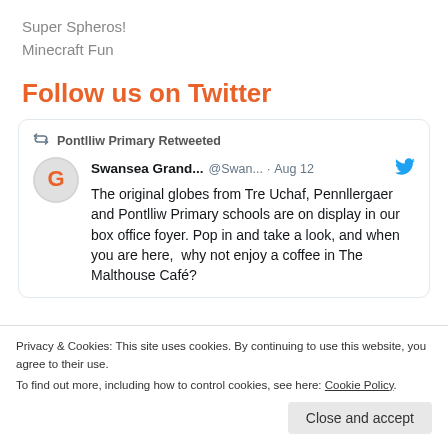Super Spheros!
Minecraft Fun
Follow us on Twitter
Pontlliw Primary Retweeted
Swansea Grand... @Swan... · Aug 12
The original globes from Tre Uchaf, Pennllergaer  and Pontlliw Primary schools are on display in our box office foyer. Pop in and take a look, and when you are here,  why not enjoy a coffee in The Malthouse Café?
Privacy & Cookies: This site uses cookies. By continuing to use this website, you agree to their use.
To find out more, including how to control cookies, see here: Cookie Policy